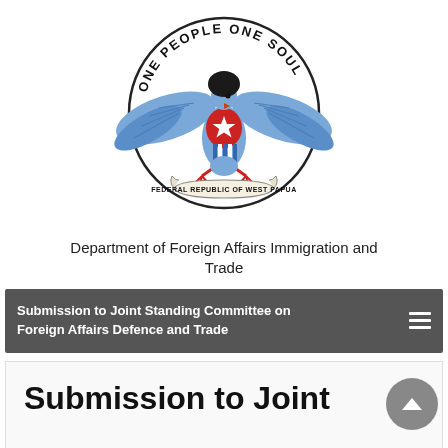[Figure (logo): Federal Republic of West Papua coat of arms — a Bird of Paradise with wings spread, standing on a red shield with a white star and blue/white vertical stripes, inside a circle with the motto 'ONE PEOPLE ONE SOUL', and a banner below reading 'FEDERAL REPUBLIC OF WEST PAPUA']
Department of Foreign Affairs Immigration and Trade
Submission to Joint Standing Committee on Foreign Affairs Defence and Trade
Submission to Joint